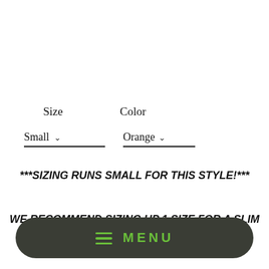Size    Color
Small ∨    Orange ∨
***SIZING RUNS SMALL FOR THIS STYLE!***
WE RECOMMEND SIZING UP 1 SIZE FOR A SLIM
[Figure (screenshot): Dark rounded pill-shaped menu bar with hamburger icon and MENU text in green]